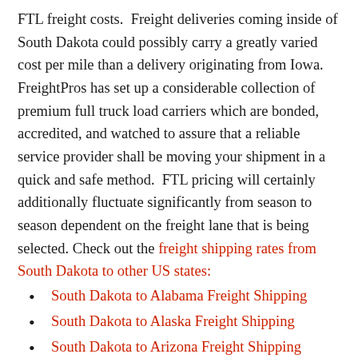FTL freight costs. Freight deliveries coming inside of South Dakota could possibly carry a greatly varied cost per mile than a delivery originating from Iowa. FreightPros has set up a considerable collection of premium full truck load carriers which are bonded, accredited, and watched to assure that a reliable service provider shall be moving your shipment in a quick and safe method. FTL pricing will certainly additionally fluctuate significantly from season to season dependent on the freight lane that is being selected. Check out the freight shipping rates from South Dakota to other US states:
South Dakota to Alabama Freight Shipping
South Dakota to Alaska Freight Shipping
South Dakota to Arizona Freight Shipping
South Dakota to Arkansas Freight Shipping